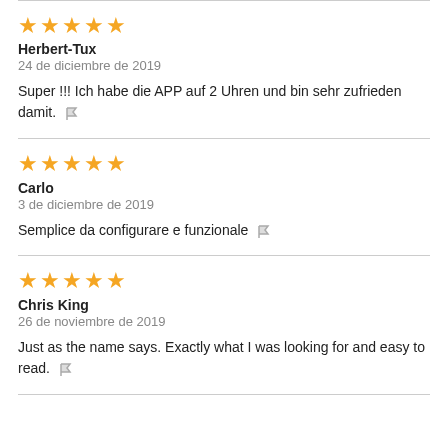★★★★★
Herbert-Tux
24 de diciembre de 2019
Super !!! Ich habe die APP auf 2 Uhren und bin sehr zufrieden damit.
★★★★★
Carlo
3 de diciembre de 2019
Semplice da configurare e funzionale
★★★★★
Chris King
26 de noviembre de 2019
Just as the name says. Exactly what I was looking for and easy to read.